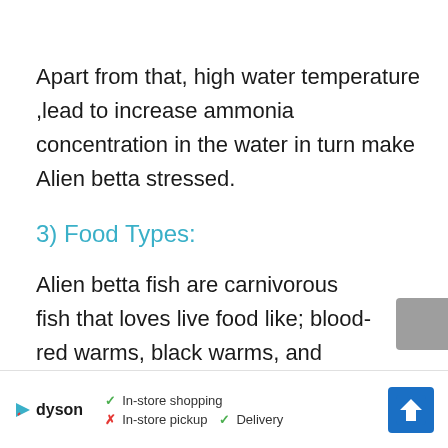Apart from that, high water temperature ,lead to increase ammonia concentration in the water in turn make Alien betta stressed.
3) Food Types:
Alien betta fish are carnivorous fish that loves live food like; blood-red warms, black warms, and shrimp, etc. It
[Figure (screenshot): Advertisement banner showing Dyson brand with store shopping options: In-store shopping (checkmark), In-store pickup (X), Delivery (checkmark), and a blue navigation/directions icon.]